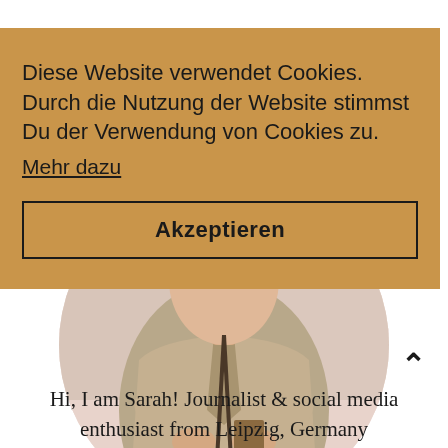[Figure (photo): Circular cropped photo of a person in a beige/khaki jacket, arms crossed, with a blurred outdoor background. The circle has a soft pink background.]
Diese Website verwendet Cookies. Durch die Nutzung der Website stimmst Du der Verwendung von Cookies zu. Mehr dazu
Akzeptieren
Hi, I am Sarah! Journalist & social media enthusiast from Leipzig, Germany